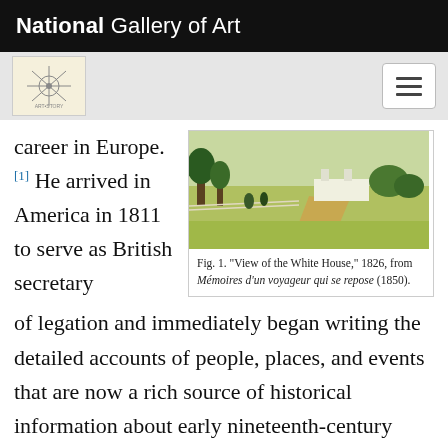National Gallery of Art
career in Europe.[1] He arrived in America in 1811 to serve as British secretary of legation and immediately began writing the detailed accounts of people, places, and events that are now a rich source of historical information about early nineteenth-century America. When the British minister returned to England upon the declaration of war in Baker stayed on to act as agent for captured British
[Figure (photo): Historical painting showing a view of the White House from 1826, a landscape scene with trees, a path, and the White House in the background.]
Fig. 1. "View of the White House," 1826, from Mémoires d'un voyageur qui se repose (1850).